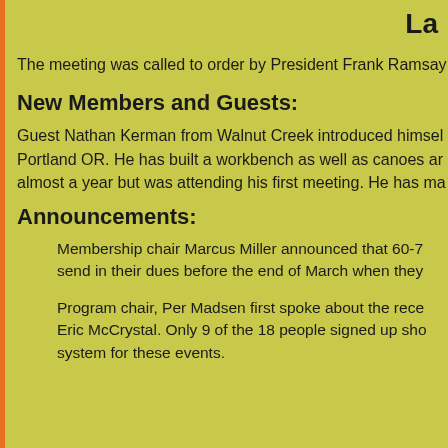La
The meeting was called to order by President Frank Ramsay
New Members and Guests:
Guest Nathan Kerman from Walnut Creek introduced himself Portland OR. He has built a workbench as well as canoes ar almost a year but was attending his first meeting. He has ma
Announcements:
Membership chair Marcus Miller announced that 60-7 send in their dues before the end of March when they
Program chair, Per Madsen first spoke about the rece Eric McCrystal. Only 9 of the 18 people signed up sho system for these events.